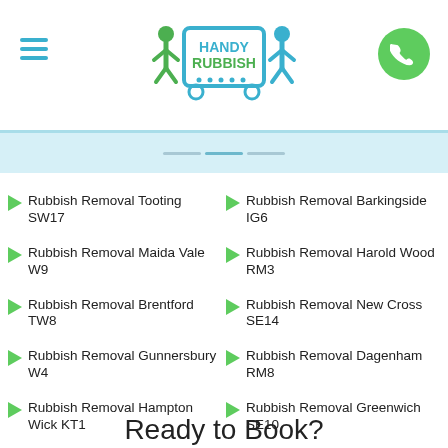Handy Rubbish logo with menu and call button
Rubbish Removal Tooting SW17
Rubbish Removal Barkingside IG6
Rubbish Removal Maida Vale W9
Rubbish Removal Harold Wood RM3
Rubbish Removal Brentford TW8
Rubbish Removal New Cross SE14
Rubbish Removal Gunnersbury W4
Rubbish Removal Dagenham RM8
Rubbish Removal Hampton Wick KT1
Rubbish Removal Greenwich SE10
Ready to Book?